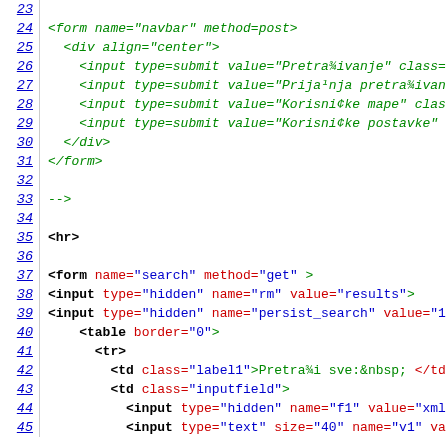Code listing showing HTML source code lines 23-45
23: (blank)
24: <form name="navbar" method=post>
25:   <div align="center">
26:     <input type=submit value="Pretra¾ivanje" class=
27:     <input type=submit value="Prija¹nja pretra¾ivan
28:     <input type=submit value="Korisni¢ke mape" clas
29:     <input type=submit value="Korisni¢ke postavke"
30:   </div>
31: </form>
32: (blank)
33: -->
34: (blank)
35: <hr>
36: (blank)
37: <form name="search" method="get" >
38: <input type="hidden" name="rm" value="results">
39: <input type="hidden" name="persist_search" value="1
40:   <table border="0">
41:     <tr>
42:       <td class="label1">Pretra¾i sve:&nbsp; </td
43:       <td class="inputfield">
44:         <input type="hidden" name="f1" value="xml
45:         <input type="text" size="40" name="v1" va